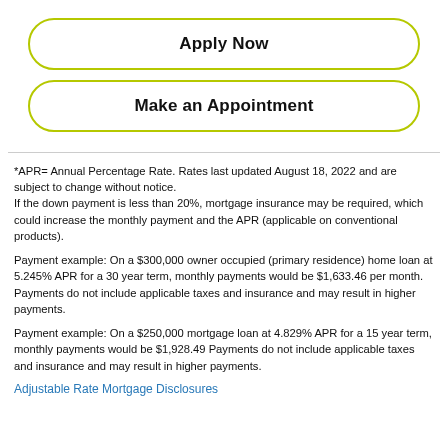Apply Now
Make an Appointment
*APR= Annual Percentage Rate. Rates last updated August 18, 2022 and are subject to change without notice.
If the down payment is less than 20%, mortgage insurance may be required, which could increase the monthly payment and the APR (applicable on conventional products).

Payment example: On a $300,000 owner occupied (primary residence) home loan at 5.245% APR for a 30 year term, monthly payments would be $1,633.46 per month. Payments do not include applicable taxes and insurance and may result in higher payments.

Payment example: On a $250,000 mortgage loan at 4.829% APR for a 15 year term, monthly payments would be $1,928.49 Payments do not include applicable taxes and insurance and may result in higher payments.
Adjustable Rate Mortgage Disclosures